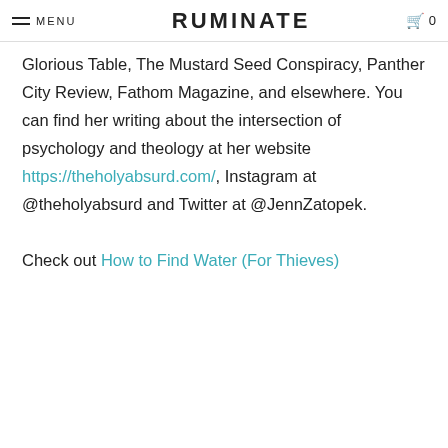MENU | RUMINATE | 0
Glorious Table, The Mustard Seed Conspiracy, Panther City Review, Fathom Magazine, and elsewhere. You can find her writing about the intersection of psychology and theology at her website https://theholyabsurd.com/, Instagram at @theholyabsurd and Twitter at @JennZatopek.
Check out How to Find Water (For Thieves)